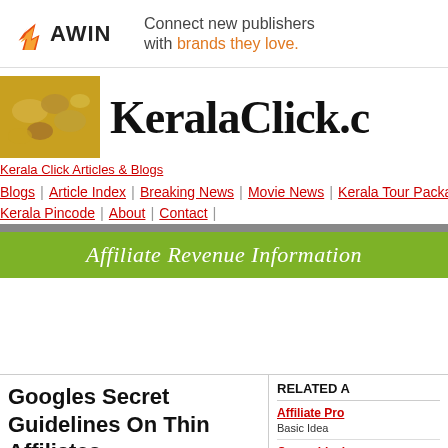[Figure (logo): AWIN logo with flame icon and tagline: Connect new publishers with brands they love.]
[Figure (photo): KeralaClick.com website header with spices image and site title]
Kerala Click Articles & Blogs
Blogs | Article Index | Breaking News | Movie News | Kerala Tour Packages |
Kerala Pincode | About | Contact |
Affiliate Revenue Information
Googles Secret Guidelines On Thin Affiliates
RELATED A
Affiliate Pro Basic Idea
Overachieving Stardom Internet busi you're not re be left compl